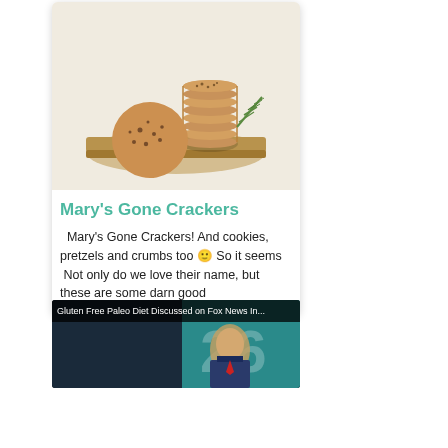[Figure (photo): Photo of stacked grain crackers on a wooden board with a pine sprig, on a cream/beige background]
Mary's Gone Crackers
Mary's Gone Crackers! And cookies, pretzels and crumbs too 🙂 So it seems  Not only do we love their name, but these are some darn good
[Figure (screenshot): Video thumbnail with text overlay: 'Gluten Free Paleo Diet Discussed on Fox News In...' showing a man on screen with teal/blue background and large white '26' graphic]